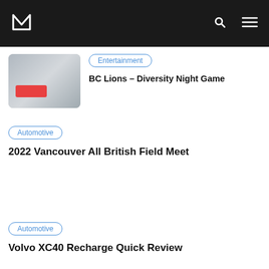M [logo] [search icon] [menu icon]
Entertainment
BC Lions – Diversity Night Game
Automotive
2022 Vancouver All British Field Meet
Automotive
Volvo XC40 Recharge Quick Review